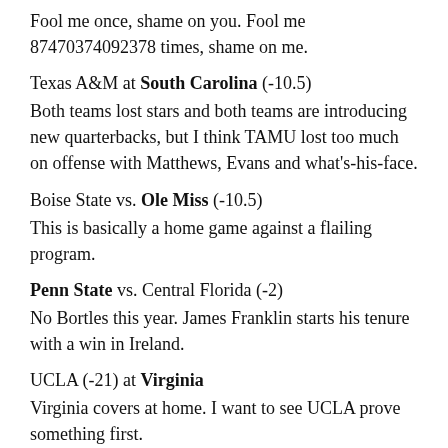Fool me once, shame on you. Fool me 87470374092378 times, shame on me.
Texas A&M at South Carolina (-10.5) Both teams lost stars and both teams are introducing new quarterbacks, but I think TAMU lost too much on offense with Matthews, Evans and what's-his-face.
Boise State vs. Ole Miss (-10.5) This is basically a home game against a flailing program.
Penn State vs. Central Florida (-2) No Bortles this year. James Franklin starts his tenure with a win in Ireland.
UCLA (-21) at Virginia Virginia covers at home. I want to see UCLA prove something first.